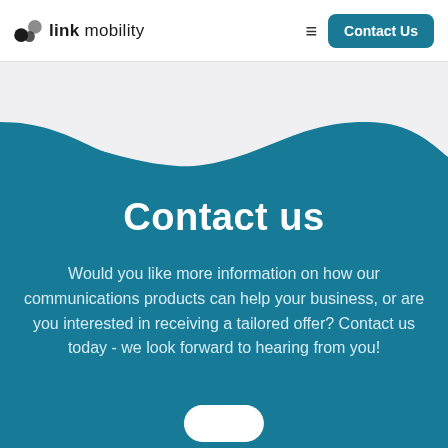link mobility | Contact Us
Contact us
Would you like more information on how our communications products can help your business, or are you interested in receiving a tailored offer? Contact us today - we look forward to hearing from you!